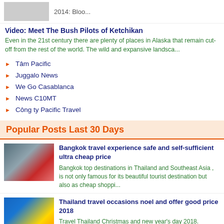2014: Bloo...
Video: Meet The Bush Pilots of Ketchikan
Even in the 21st century there are plenty of places in Alaska that remain cut-off from the rest of the world. The wild and expansive landsca...
Tâm Pacific
Juggalo News
We Go Casablanca
News C10MT
Công ty Pacific Travel
Popular Posts Last 30 Days
Bangkok travel experience safe and self-sufficient ultra cheap price
Bangkok top destinations in Thailand and Southeast Asia , is not only famous for its beautiful tourist destination but also as cheap shoppi...
Thailand travel occasions noel and offer good price 2018
Travel Thailand Christmas and new year's day 2018. Christmas and new year's day have become two important